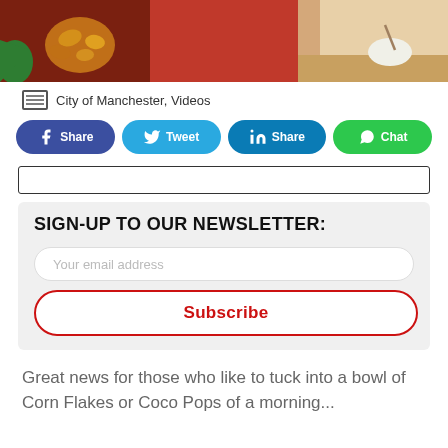[Figure (photo): Photo strip showing cereal bowl and person eating, with red and beige background sections]
City of Manchester, Videos
Share | Tweet | Share | Chat
SIGN-UP TO OUR NEWSLETTER:
Your email address
Subscribe
Great news for those who like to tuck into a bowl of Corn Flakes or Coco Pops of a morning...